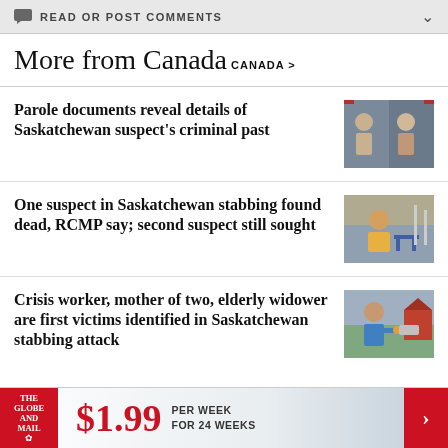READ OR POST COMMENTS
More from Canada
CANADA >
Parole documents reveal details of Saskatchewan suspect's criminal past
One suspect in Saskatchewan stabbing found dead, RCMP say; second suspect still sought
Crisis worker, mother of two, elderly widower are first victims identified in Saskatchewan stabbing attack
THE GLOBE AND MAIL $1.99 PER WEEK FOR 24 WEEKS